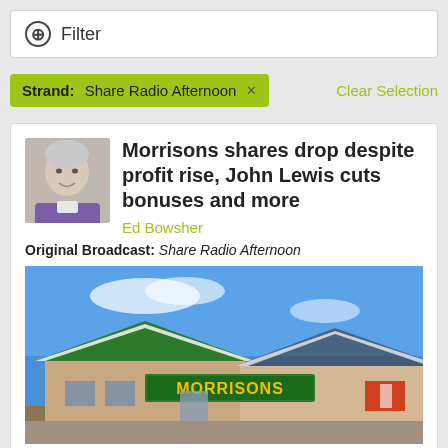Filter
Strand: Share Radio Afternoon ×
Clear Selection
Morrisons shares drop despite profit rise, John Lewis cuts bonuses and more
Ed Bowsher
Original Broadcast: Share Radio Afternoon
[Figure (photo): Exterior photo of a Morrisons supermarket store with green roof and signage under a blue sky]